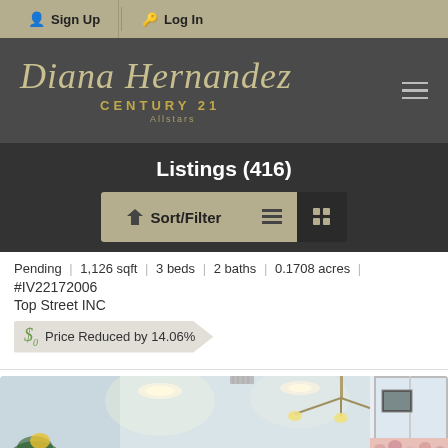Sign Up | Log In
[Figure (logo): Diana Hernandez Century 21 Allstars logo on dark gray background with hamburger menu icon]
Listings (416)
Sort/Filter
Pending | 1,126 sqft | 3 beds | 2 baths | 0.1708 acres | #IV22172006
Top Street INC
Price Reduced by 14.06%
[Figure (photo): Interior room photo showing ceiling lights and chandelier, light blue walls, window with floral valance]